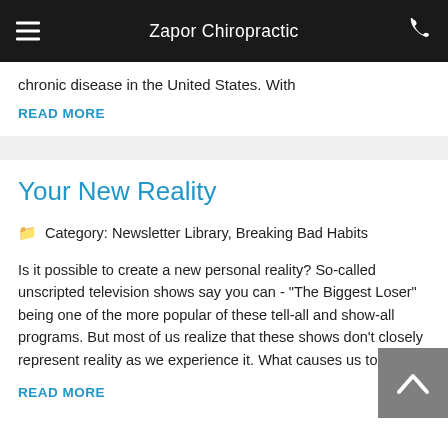Zapor Chiropractic
chronic disease in the United States. With
READ MORE
Your New Reality
Category: Newsletter Library, Breaking Bad Habits
Is it possible to create a new personal reality? So-called unscripted television shows say you can - "The Biggest Loser" being one of the more popular of these tell-all and show-all programs. But most of us realize that these shows don't closely represent reality as we experience it. What causes us to
READ MORE